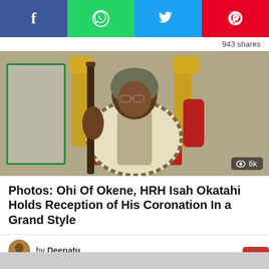[Figure (infographic): Social share buttons: Facebook (blue), WhatsApp (green), Twitter (light blue), Pinterest (red)]
943 shares
[Figure (photo): Photo of HRH Isah Okatahi, Ohi of Okene, seated on a golden throne wearing traditional attire and glasses, holding a staff. Badge shows 6k views.]
Photos: Ohi Of Okene, HRH Isah Okatahi Holds Reception of His Coronation In a Grand Style
by Deenatu